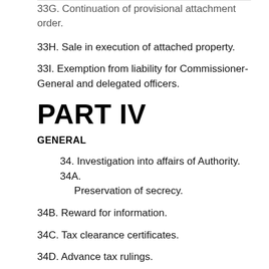33G. Continuation of provisional attachment order.
33H. Sale in execution of attached property.
33I. Exemption from liability for Commissioner-General and delegated officers.
PART IV
GENERAL
34. Investigation into affairs of Authority. 34A. Preservation of secrecy.
34B. Reward for information.
34C. Tax clearance certificates.
34D. Advance tax rulings.
34E. Offence by officers of Authority.